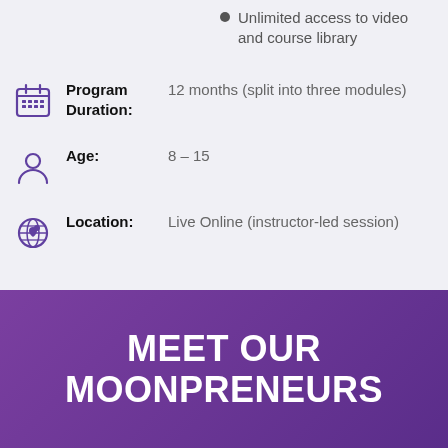Unlimited access to video and course library
Program Duration: 12 months (split into three modules)
Age: 8 – 15
Location: Live Online (instructor-led session)
MEET OUR MOONPRENEURS